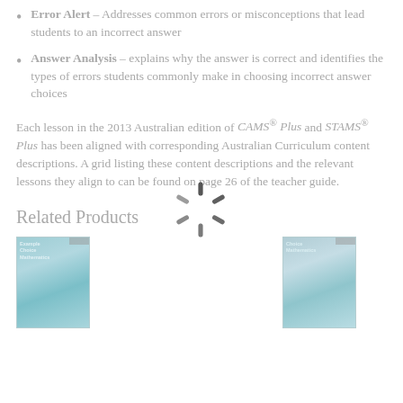Error Alert – Addresses common errors or misconceptions that lead students to an incorrect answer
Answer Analysis – explains why the answer is correct and identifies the types of errors students commonly make in choosing incorrect answer choices
Each lesson in the 2013 Australian edition of CAMS® Plus and STAMS® Plus has been aligned with corresponding Australian Curriculum content descriptions. A grid listing these content descriptions and the relevant lessons they align to can be found on page 26 of the teacher guide.
Related Products
[Figure (photo): Book cover thumbnail for a related product, teal/blue tones with abstract background]
[Figure (photo): Book cover thumbnail for another related product, teal/blue tones with abstract background]